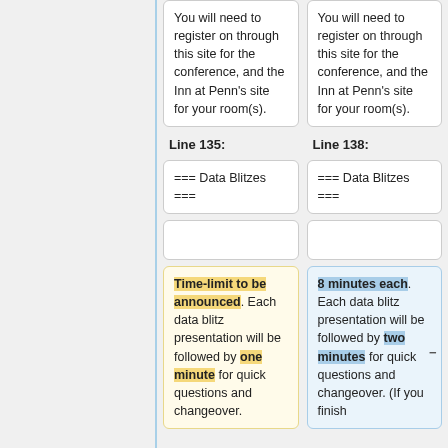You will need to register on through this site for the conference, and the Inn at Penn's site for your room(s).
You will need to register on through this site for the conference, and the Inn at Penn's site for your room(s).
Line 135:
Line 138:
=== Data Blitzes ===
=== Data Blitzes ===
Time-limit to be announced. Each data blitz presentation will be followed by one minute for quick questions and changeover.
8 minutes each. Each data blitz presentation will be followed by two minutes for quick questions and changeover. (If you finish